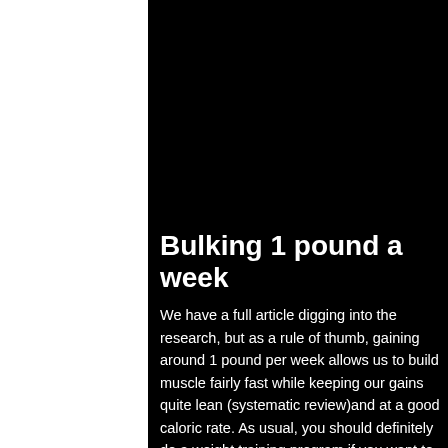Bulking 1 pound a week
We have a full article digging into the research, but as a rule of thumb, gaining around 1 pound per week allows us to build muscle fairly fast while keeping our gains quite lean (systematic review)and at a good caloric rate. As usual, you should definitely do a weight training program if you want to gain any true muscle mass. What's not to like, bulking pound 1 week a?